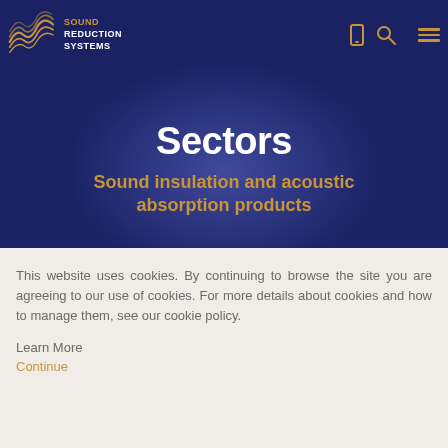[Figure (logo): Sound Reduction Systems logo with wave graphic in orange/gold and white text]
Sectors
Sound insulation and acoustic absorption products
This website uses cookies. By continuing to browse the site you are agreeing to our use of cookies. For more details about cookies and how to manage them, see our cookie policy.
Learn More
Continue